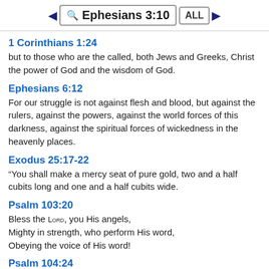◄ Ephesians 3:10 ALL ►
1 Corinthians 1:24
but to those who are the called, both Jews and Greeks, Christ the power of God and the wisdom of God.
Ephesians 6:12
For our struggle is not against flesh and blood, but against the rulers, against the powers, against the world forces of this darkness, against the spiritual forces of wickedness in the heavenly places.
Exodus 25:17-22
“You shall make a mercy seat of pure gold, two and a half cubits long and one and a half cubits wide.
Psalm 103:20
Bless the LORD, you His angels,
Mighty in strength, who perform His word,
Obeying the voice of His word!
Psalm 104:24